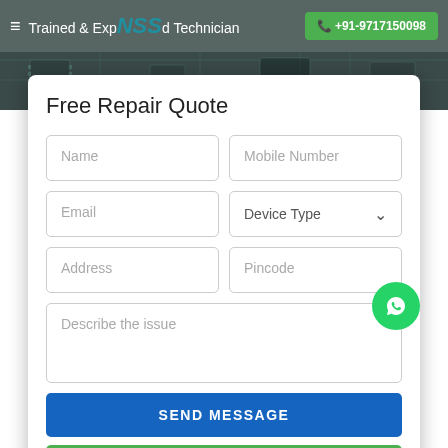Trained & Experienced Technician  +91-9717150098
Free Repair Quote
Name | Mobile Number | Email | Device Type | Address | Pincode | Describe the issue
SEND MESSAGE
CHAT WITH US